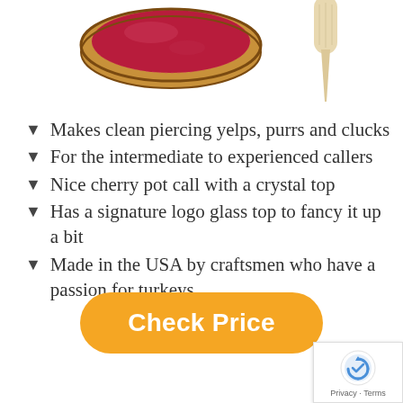[Figure (photo): Product photo showing a cherry pot call with a red crystal top (left) and a wooden striker (right), partially cropped at the top of the page.]
Makes clean piercing yelps, purrs and clucks
For the intermediate to experienced callers
Nice cherry pot call with a crystal top
Has a signature logo glass top to fancy it up a bit
Made in the USA by craftsmen who have a passion for turkeys
[Figure (other): Orange rounded rectangle button labeled 'Check Price']
[Figure (other): reCAPTCHA privacy badge in bottom-right corner showing the reCAPTCHA logo and 'Privacy - Terms' text]